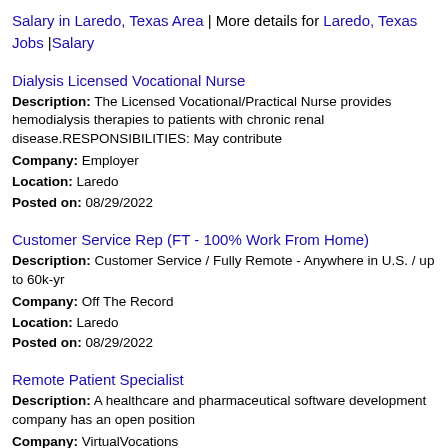Salary in Laredo, Texas Area | More details for Laredo, Texas Jobs |Salary
Dialysis Licensed Vocational Nurse
Description: The Licensed Vocational/Practical Nurse provides hemodialysis therapies to patients with chronic renal disease.RESPONSIBILITIES: May contribute
Company: Employer
Location: Laredo
Posted on: 08/29/2022
Customer Service Rep (FT - 100% Work From Home)
Description: Customer Service / Fully Remote - Anywhere in U.S. / up to 60k-yr
Company: Off The Record
Location: Laredo
Posted on: 08/29/2022
Remote Patient Specialist
Description: A healthcare and pharmaceutical software development company has an open position
Company: VirtualVocations
Location: Laredo
Posted on: 08/29/2022